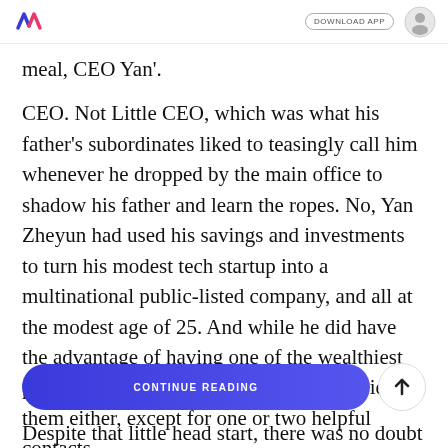DOWNLOAD APP
meal, CEO Yan'.
CEO. Not Little CEO, which was what his father's subordinates liked to teasingly call him whenever he dropped by the main office to shadow his father and learn the ropes. No, Yan Zheyun had used his savings and investments to turn his modest tech startup into a multinational public-listed company, and all at the modest age of 25. And while he did have the advantage of having one of the wealthiest parents in the country, he hadn't really relied on them either, except for one or two helpful contacts.
Who could fault him for utilising all the resources h
Despite that little head start, there was no doubt that